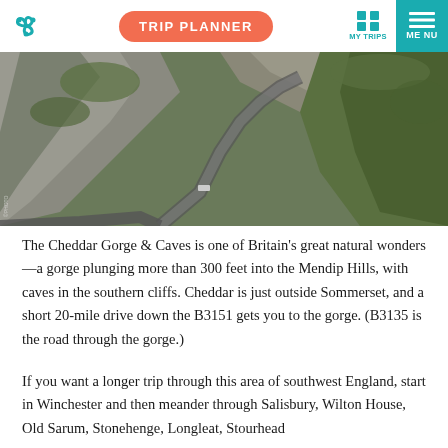TRIP PLANNER | MY TRIPS | MENU
[Figure (photo): Aerial/elevated view of Cheddar Gorge, showing a winding road cutting through steep limestone cliffs and green hillside vegetation.]
The Cheddar Gorge & Caves is one of Britain's great natural wonders—a gorge plunging more than 300 feet into the Mendip Hills, with caves in the southern cliffs. Cheddar is just outside Sommerset, and a short 20-mile drive down the B3151 gets you to the gorge. (B3135 is the road through the gorge.)
If you want a longer trip through this area of southwest England, start in Winchester and then meander through Salisbury, Wilton House, Old Sarum, Stonehenge, Longleat, Stourhead